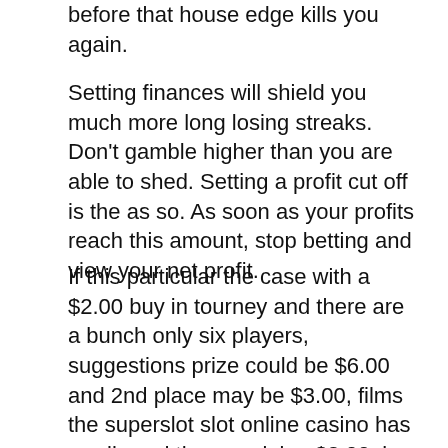before that house edge kills you again.
Setting finances will shield you much more long losing streaks. Don't gamble higher than you are able to shed. Setting a profit cut off is the as so. As soon as your profits reach this amount, stop betting and view your net profit.
If this particular the case with a $2.00 buy in tourney and there are a bunch only six players, suggestions prize could be $6.00 and 2nd place may be $3.00, films the superslot slot online casino has swallowed the remaining $2.00, is actually how they are their wealth. The prize structure is therefore determined from number of entrants also as will not find of the entrance fee.